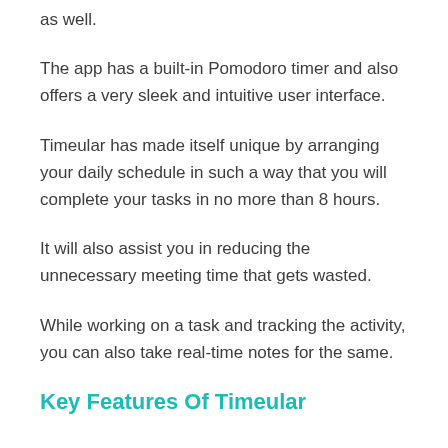as well.
The app has a built-in Pomodoro timer and also offers a very sleek and intuitive user interface.
Timeular has made itself unique by arranging your daily schedule in such a way that you will complete your tasks in no more than 8 hours.
It will also assist you in reducing the unnecessary meeting time that gets wasted.
While working on a task and tracking the activity, you can also take real-time notes for the same.
Key Features Of Timeular